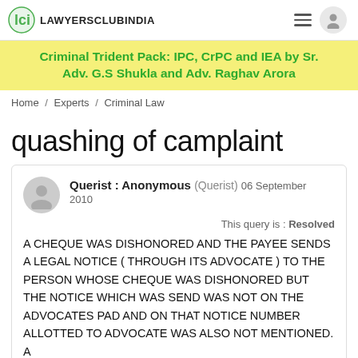LAWYERSCLUBINDIA
Criminal Trident Pack: IPC, CrPC and IEA by Sr. Adv. G.S Shukla and Adv. Raghav Arora
Home / Experts / Criminal Law
quashing of camplaint
Querist : Anonymous (Querist) 06 September 2010
This query is : Resolved
A CHEQUE WAS DISHONORED AND THE PAYEE SENDS A LEGAL NOTICE ( THROUGH ITS ADVOCATE ) TO THE PERSON WHOSE CHEQUE WAS DISHONORED BUT THE NOTICE WHICH WAS SEND WAS NOT ON THE ADVOCATES PAD AND ON THAT NOTICE NUMBER ALLOTTED TO ADVOCATE WAS ALSO NOT MENTIONED. A